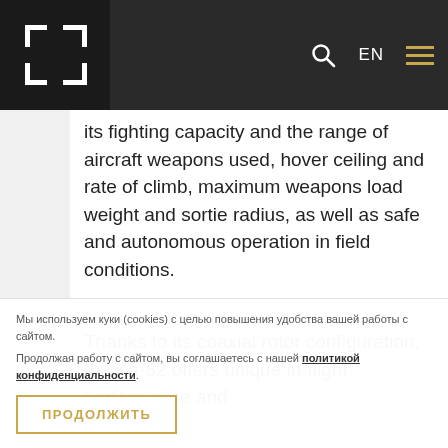[Figure (logo): Navigation bar with white bracket/frame logo on black background, search icon, EN language selector, and hamburger menu icon in gold]
its fighting capacity and the range of aircraft weapons used, hover ceiling and rate of climb, maximum weapons load weight and sortie radius, as well as safe and autonomous operation in field conditions.
Thanks to its coaxial rotor configuration, the Ka-52 offers unique in-flight performance and
Мы используем куки (cookies) с целью повышения удобства вашей работы с сайтом.
Продолжая работу с сайтом, вы соглашаетесь с нашей политикой конфиденциальности.
ПРОДОЛЖИТЬ